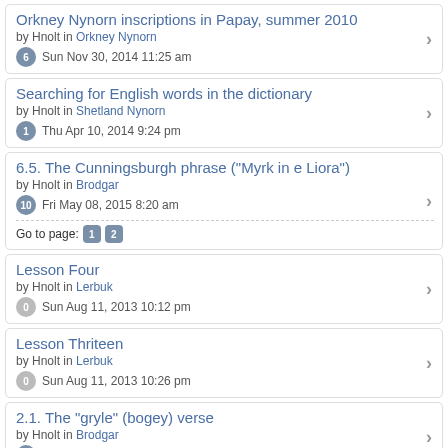Orkney Nynorn inscriptions in Papay, summer 2010 — by Hnolt in Orkney Nynorn — 6 replies — Sun Nov 30, 2014 11:25 am
Searching for English words in the dictionary — by Hnolt in Shetland Nynorn — 1 reply — Thu Apr 10, 2014 9:24 pm
6.5. The Cunningsburgh phrase ("Myrk in e Liora") — by Hnolt in Brodgar — 10 replies — Fri May 08, 2015 8:20 am — Go to page: 1 2
Lesson Four — by Hnolt in Lerbuk — 0 replies — Sun Aug 11, 2013 10:12 pm
Lesson Thriteen — by Hnolt in Lerbuk — 0 replies — Sun Aug 11, 2013 10:26 pm
2.1. The "gryle" (bogey) verse — by Hnolt in Brodgar — 4 replies — Sun Jan 25, 2015 9:10 pm